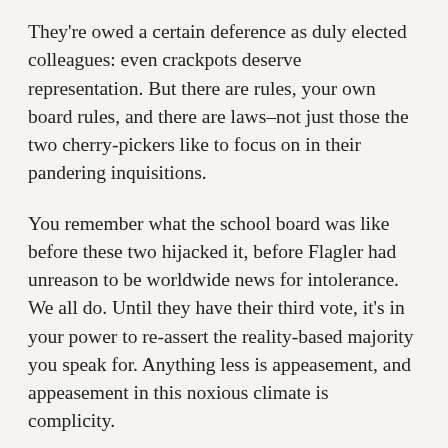They're owed a certain deference as duly elected colleagues: even crackpots deserve representation. But there are rules, your own board rules, and there are laws–not just those the two cherry-pickers like to focus on in their pandering inquisitions.
You remember what the school board was like before these two hijacked it, before Flagler had unreason to be worldwide news for intolerance. We all do. Until they have their third vote, it's in your power to re-assert the reality-based majority you speak for. Anything less is appeasement, and appeasement in this noxious climate is complicity.